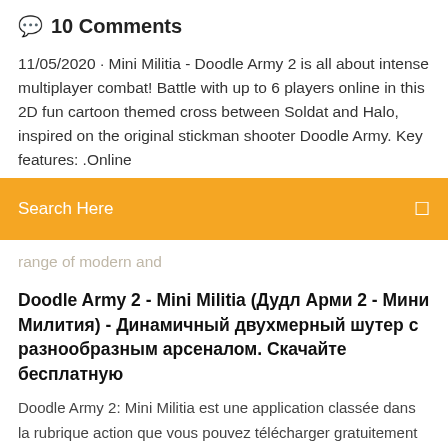💬 10 Comments
11/05/2020 · Mini Militia - Doodle Army 2 is all about intense multiplayer combat! Battle with up to 6 players online in this 2D fun cartoon themed cross between Soldat and Halo, inspired on the original stickman shooter Doodle Army. Key features: .Online
[Figure (other): Orange search bar with text 'Search Here' and a search icon on the right]
range of modern and
Doodle Army 2 - Mini Militia (Дудл Арми 2 - Мини Милития) - Динамичный двухмерный шутер с разнообразным арсеналом. Скачайте бесплатную
Doodle Army 2: Mini Militia est une application classée dans la rubrique action que vous pouvez télécharger gratuitement sur votre PC et aussi sur votre MAC depuis notre site imabox.fr. Installer et jouer à Doodle Army 2: Mini Militia sur ordinateur n'aura jamais été aussi simple.. Télécharger sur votre